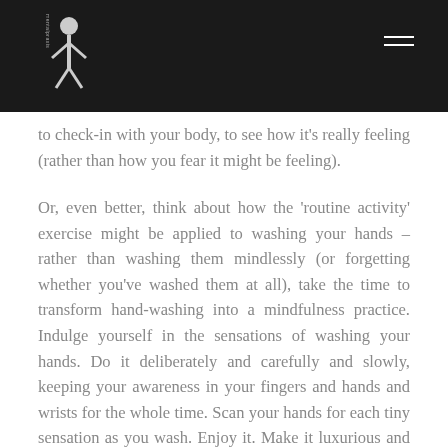mentalpraxis logo and navigation
to check-in with your body, to see how it's really feeling (rather than how you fear it might be feeling).
Or, even better, think about how the 'routine activity' exercise might be applied to washing your hands – rather than washing them mindlessly (or forgetting whether you've washed them at all), take the time to transform hand-washing into a mindfulness practice. Indulge yourself in the sensations of washing your hands. Do it deliberately and carefully and slowly, keeping your awareness in your fingers and hands and wrists for the whole time. Scan your hands for each tiny sensation as you wash. Enjoy it. Make it luxurious and special. Make it something you look forward